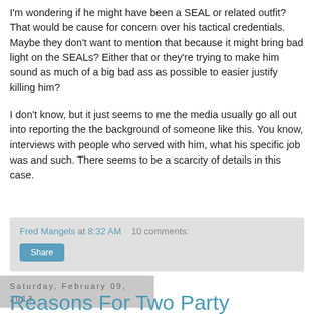I'm wondering if he might have been a SEAL or related outfit? That would be cause for concern over his tactical credentials. Maybe they don't want to mention that because it might bring bad light on the SEALs? Either that or they're trying to make him sound as much of a big bad ass as possible to easier justify killing him?
I don't know, but it just seems to me the media usually go all out into reporting the the background of someone like this. You know, interviews with people who served with him, what his specific job was and such. There seems to be a scarcity of details in this case.
Fred Mangels at 8:32 AM   10 comments:
Share
Saturday, February 09, 2013
Reasons For Two Party Dominance In